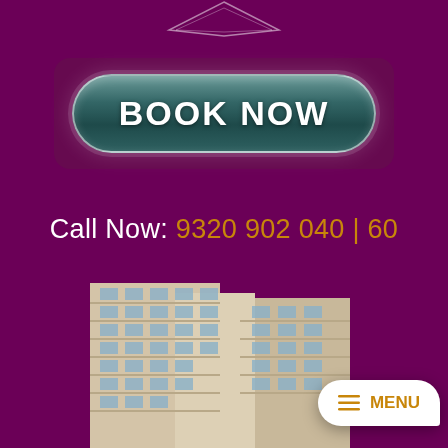[Figure (logo): Diamond/geometric logo shape at top center, partially visible]
[Figure (other): BOOK NOW button with teal/dark green glossy rounded pill shape on dark purple background panel]
Call Now: 9320 902 040 | 60
[Figure (photo): Multi-story residential apartment building with beige/cream facade, multiple floors with balconies and windows, photographed from ground looking up]
MENU